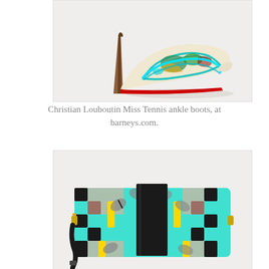[Figure (photo): Christian Louboutin Miss Tennis ankle boot with stiletto heel, decorated with colorful lace/embroidery overlay in teal, gold, and multicolor on a light background, shown in profile against a white/light gray background with subtle shadow.]
Christian Louboutin Miss Tennis ankle boots, at barneys.com.
[Figure (photo): A rectangular crossbody bag with a colorful printed pattern in teal/mint, black, peach/pink, and yellow on a checkerboard-style design with leaf/plant motifs, featuring a wide black leather strap closure in the center and gold hardware, shown against a white background.]